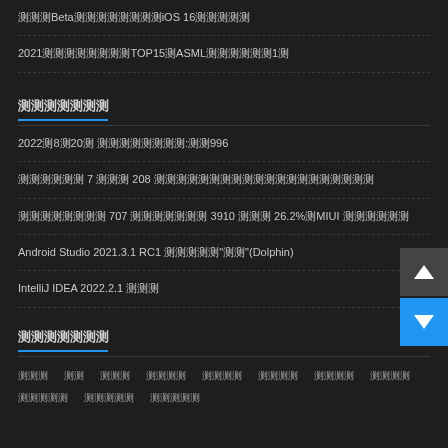测测测Beta测测测测测测测测iOS 16测测测测测
2021测测测测测测测测TOP15测ASML测测测测测测1测
测测测测测测测
2022测8测20测 测测测测测测测测:测测996
测测测测测测 7 测测测 208 测测测测测测测测测测测测测测测测测测测测
测测测测测测测测 707 测测测测测测测 3910 测测测 26.2%测MIUI 测测测测测测
Android Studio 2021.3.1 RC1 测测测测测"测测"(Dolphin)
IntelliJ IDEA 2022.2.1 测测测
测测测测测测测
测测测  测测  测测测  测测测测  测测测测  测测测测  测测测测  测测测测
测测测测测  测测测测测  测测测测测